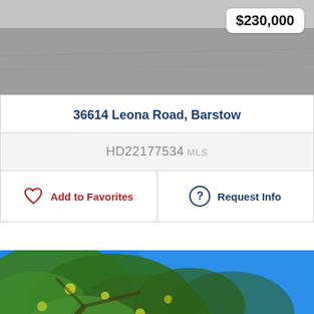[Figure (photo): Aerial/street view photo of a road/property, partially cropped. A price badge showing $230,000 overlays the top-right.]
36614 Leona Road, Barstow
HD22177534 MLS
Add to Favorites
Request Info
[Figure (photo): Photo of tree branches with green and yellow leaves against a bright blue sky.]